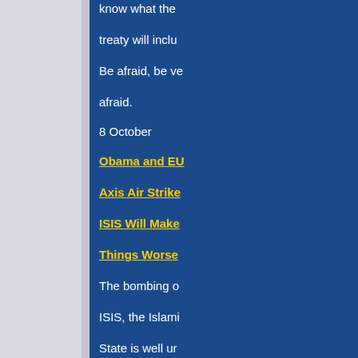know what the treaty will inclu Be afraid, be ve afraid.
8 October
Obama and EU Axis Air Strike ISIS Will Make Things Worse
The bombing of ISIS, the Islami State is well un way in Iraq and Syria, and as predicted the American, Briti